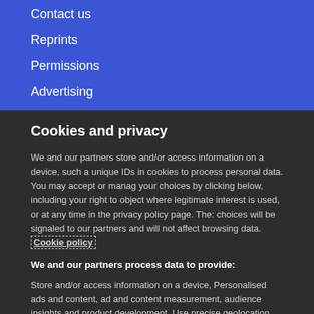Contact us
Reprints
Permissions
Advertising
Cookies and privacy
We and our partners store and/or access information on a device, such a unique IDs in cookies to process personal data. You may accept or manage your choices by clicking below, including your right to object where legitimate interest is used, or at any time in the privacy policy page. These choices will be signaled to our partners and will not affect browsing data. Cookie policy
We and our partners process data to provide:
Store and/or access information on a device, Personalised ads and content, ad and content measurement, audience insights and product development, Use precise geolocation data, Actively scan device characteristics for identification
List of Partners (vendors)